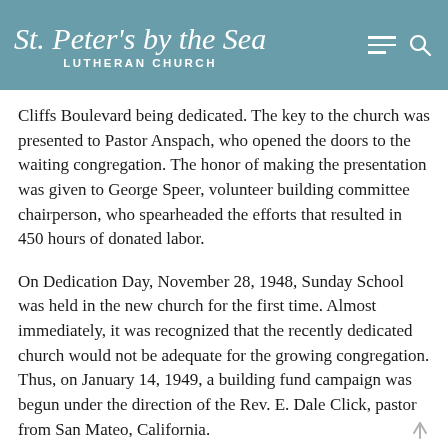St. Peter's by the Sea LUTHERAN CHURCH
Cliffs Boulevard being dedicated. The key to the church was presented to Pastor Anspach, who opened the doors to the waiting congregation. The honor of making the presentation was given to George Speer, volunteer building committee chairperson, who spearheaded the efforts that resulted in 450 hours of donated labor.
On Dedication Day, November 28, 1948, Sunday School was held in the new church for the first time. Almost immediately, it was recognized that the recently dedicated church would not be adequate for the growing congregation. Thus, on January 14, 1949, a building fund campaign was begun under the direction of the Rev. E. Dale Click, pastor from San Mateo, California.